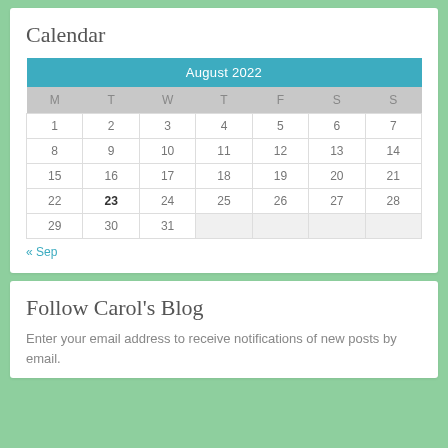Calendar
| M | T | W | T | F | S | S |
| --- | --- | --- | --- | --- | --- | --- |
| 1 | 2 | 3 | 4 | 5 | 6 | 7 |
| 8 | 9 | 10 | 11 | 12 | 13 | 14 |
| 15 | 16 | 17 | 18 | 19 | 20 | 21 |
| 22 | 23 | 24 | 25 | 26 | 27 | 28 |
| 29 | 30 | 31 |  |  |  |  |
« Sep
Follow Carol's Blog
Enter your email address to receive notifications of new posts by email.